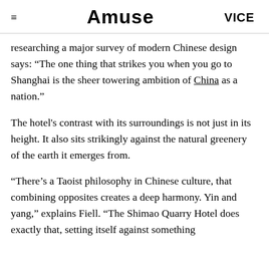Amuse | VICE
researching a major survey of modern Chinese design says: “The one thing that strikes you when you go to Shanghai is the sheer towering ambition of China as a nation.”
The hotel's contrast with its surroundings is not just in its height. It also sits strikingly against the natural greenery of the earth it emerges from.
“There’s a Taoist philosophy in Chinese culture, that combining opposites creates a deep harmony. Yin and yang,” explains Fiell. “The Shimao Quarry Hotel does exactly that, setting itself against something